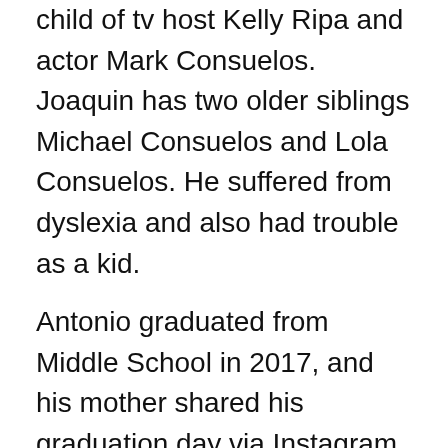child of tv host Kelly Ripa and actor Mark Consuelos.  Joaquin has two older siblings Michael Consuelos and Lola Consuelos. He suffered from dyslexia and also had trouble as a kid.
Antonio graduated from Middle School in 2017, and his mother shared his graduation day via Instagram post. All the family attended the graduation ceremony. He went to High school, and the name did not disclose yet.
Table of Contents
1. Professional Life
2. Joaquin Antonio Body Measurements